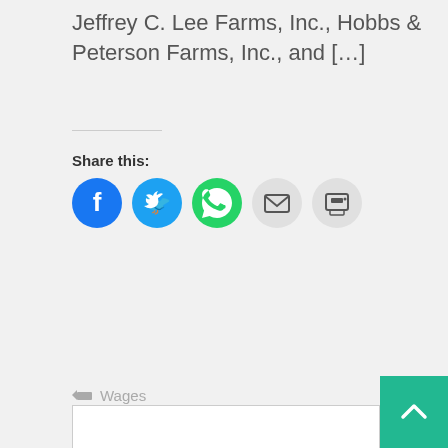Jeffrey C. Lee Farms, Inc., Hobbs & Peterson Farms, Inc., and [...]
Share this:
[Figure (infographic): Social share buttons: Facebook (blue circle), Twitter (cyan circle), WhatsApp (green circle), Email (light grey circle), Print (light grey circle)]
Wages
Read More
[Figure (infographic): Back to top button (teal square with white upward chevron arrow) in bottom right corner]